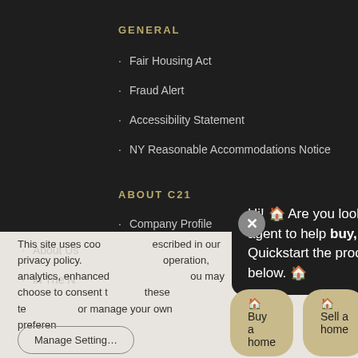GENERAL
Fair Housing Act
Fraud Alert
Accessibility Statement
NY Reasonable Accommodations Notice
ABOUT C21
Company Profile
About Us
In The N…
This site uses coo… described in our privacy policy. … operation, analytics, enhanced … ou may choose to consent … or manage your own preferen…
Hi! 🏠 Are you looking for a C21 agent to help buy, sell or rent? Quickstart the process by selecting below. 🏠